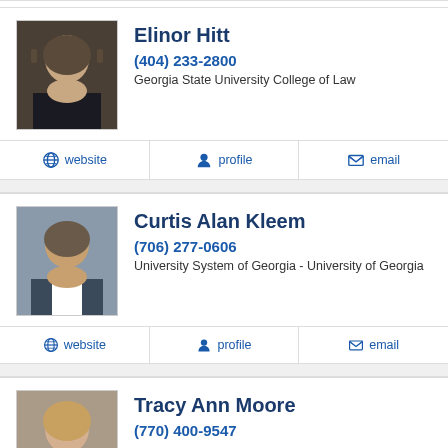[Figure (photo): Profile photo of Elinor Hitt, a woman with glasses and dark hair]
Elinor Hitt
(404) 233-2800
Georgia State University College of Law
website | profile | email
[Figure (photo): Profile photo of Curtis Alan Kleem, a man in a suit]
Curtis Alan Kleem
(706) 277-0606
University System of Georgia - University of Georgia
website | profile | email
[Figure (photo): Profile photo of Tracy Ann Moore, a woman smiling]
Tracy Ann Moore
(770) 400-9547